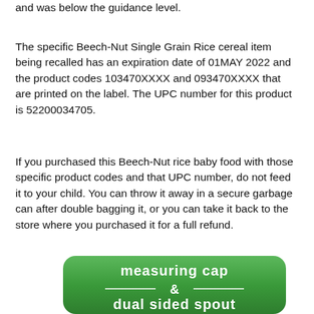and was below the guidance level.
The specific Beech-Nut Single Grain Rice cereal item being recalled has an expiration date of 01MAY 2022 and the product codes 103470XXXX and 093470XXXX that are printed on the label. The UPC number for this product is 52200034705.
If you purchased this Beech-Nut rice baby food with those specific product codes and that UPC number, do not feed it to your child. You can throw it away in a secure garbage can after double bagging it, or you can take it back to the store where you purchased it for a full refund.
[Figure (photo): Close-up of a green Beech-Nut product label showing text 'measuring cap & dual sided spout' in white font on a green background]